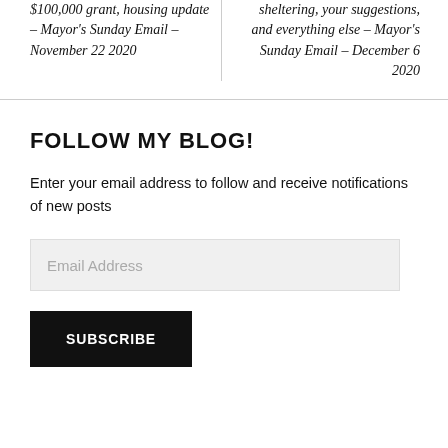$100,000 grant, housing update – Mayor's Sunday Email – November 22 2020
sheltering, your suggestions, and everything else – Mayor's Sunday Email – December 6 2020
FOLLOW MY BLOG!
Enter your email address to follow and receive notifications of new posts
Email Address
SUBSCRIBE